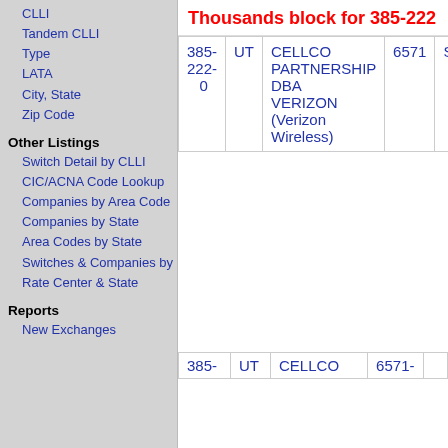CLLI
Tandem CLLI
Type
LATA
City, State
Zip Code
Other Listings
Switch Detail by CLLI
CIC/ACNA Code Lookup
Companies by Area Code
Companies by State
Area Codes by State
Switches & Companies by Rate Center & State
Reports
New Exchanges
Thousands block for 385-222
| NPA-NXX-X | State | Company | LATA |  |
| --- | --- | --- | --- | --- |
| 385-
222-
0 | UT | CELLCO PARTNERSHIP DBA VERIZON (Verizon Wireless) | 6571 | S... |
| 385- | UT | CELLCO | 6571 |  |